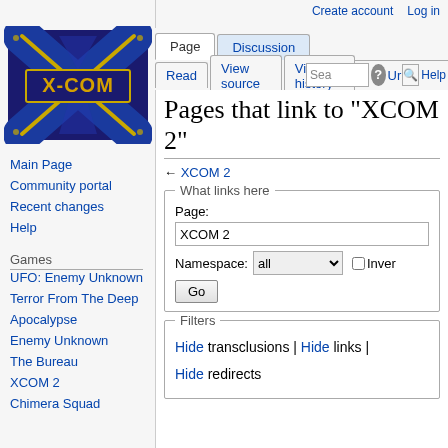Create account  Log in
[Figure (logo): X-COM wiki logo with stylized X and gold text X-COM on dark blue background]
Main Page
Community portal
Recent changes
Help
Games
UFO: Enemy Unknown
Terror From The Deep
Apocalypse
Enemy Unknown
The Bureau
XCOM 2
Chimera Squad
Pages that link to "XCOM 2"
← XCOM 2
What links here
Page:
XCOM 2
Namespace: all  Inver
Go
Filters
Hide transclusions | Hide links |
Hide redirects